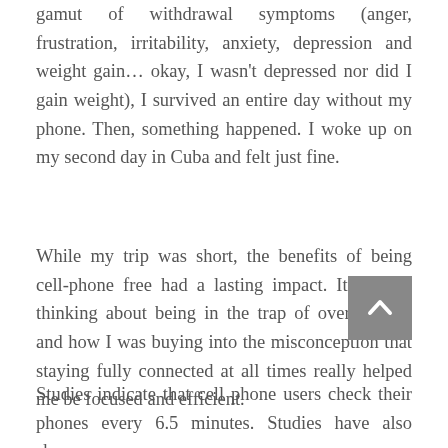gamut of withdrawal symptoms (anger, frustration, irritability, anxiety, depression and weight gain… okay, I wasn't depressed nor did I gain weight), I survived an entire day without my phone. Then, something happened. I woke up on my second day in Cuba and felt just fine.
While my trip was short, the benefits of being cell-phone free had a lasting impact. It got me thinking about being in the trap of over-activity and how I was buying into the misconception that staying fully connected at all times really helped me be focused and efficient.
Studies indicate that cell phone users check their phones every 6.5 minutes. Studies have also shown